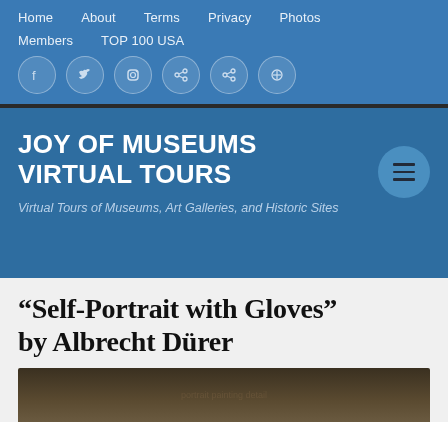Home   About   Terms   Privacy   Photos   Members   TOP 100 USA
JOY OF MUSEUMS VIRTUAL TOURS
Virtual Tours of Museums, Art Galleries, and Historic Sites
“Self-Portrait with Gloves” by Albrecht Dürer
[Figure (photo): Partial view of a dark classical painting, likely a portrait]